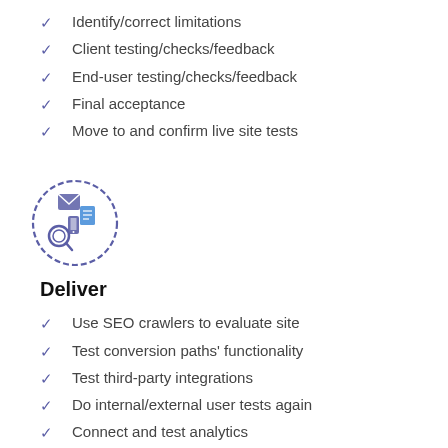Identify/correct limitations
Client testing/checks/feedback
End-user testing/checks/feedback
Final acceptance
Move to and confirm live site tests
[Figure (illustration): Circular icon with magnifying glass, envelope, and document/mobile graphics in blue and purple tones]
Deliver
Use SEO crawlers to evaluate site
Test conversion paths' functionality
Test third-party integrations
Do internal/external user tests again
Connect and test analytics
Implement/test backup schedule